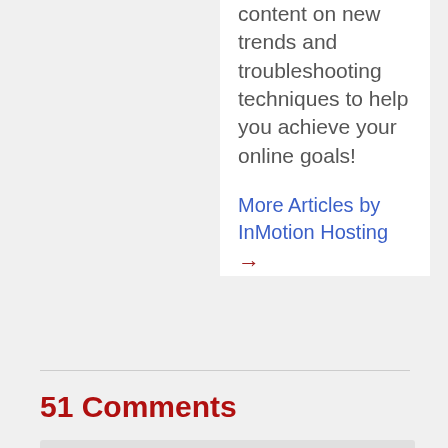content on new trends and troubleshooting techniques to help you achieve your online goals!
More Articles by InMotion Hosting →
51 Comments
Alex says:
March 24, 2021 at 3:21 pm